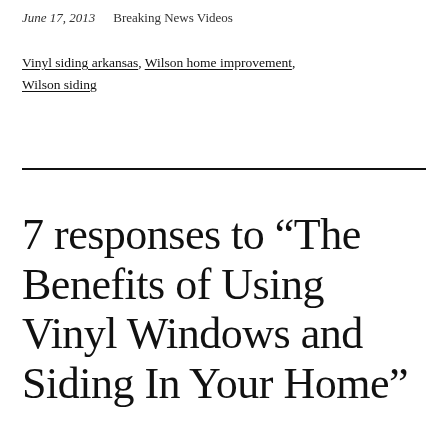June 17, 2013   Breaking News Videos
Vinyl siding arkansas, Wilson home improvement, Wilson siding
7 responses to “The Benefits of Using Vinyl Windows and Siding In Your Home”